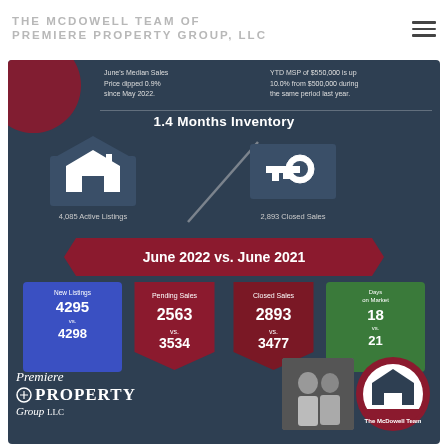THE MCDOWELL TEAM OF PREMIERE PROPERTY GROUP, LLC
[Figure (infographic): Real estate market infographic showing 1.4 Months Inventory, 4,085 Active Listings, 2,893 Closed Sales, June 2022 vs. June 2021 comparison with New Listings 4295 vs 4298, Pending Sales 2563 vs 3534, Closed Sales 2893 vs 3477, Days on Market 18 vs 21. Includes Premiere Property Group LLC logo and McDowell Team branding.]